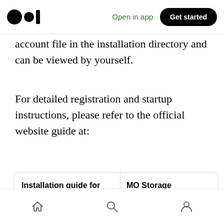Open in app | Get started
account file in the installation directory and can be viewed by yourself.
For detailed registration and startup instructions, please refer to the official website guide at:
[Figure (screenshot): A two-panel link card. Left panel: title 'Installation guide for Windows', description 'Email content: wallet address (such as 0x... generated...', url 'docs.memolabs.org'. Right panel: title 'MO Storage', subtitle 'n guide for Windows', footer 'By GitBook' with teal bottom bar.]
Home | Search | Profile